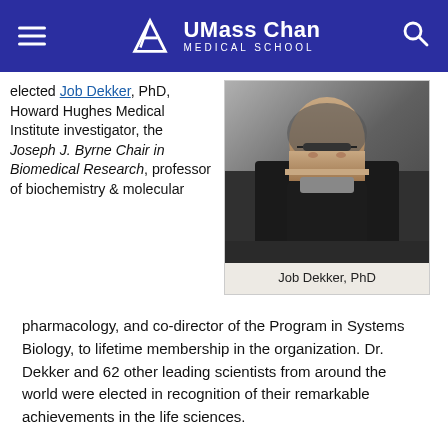UMass Chan Medical School
elected Job Dekker, PhD, Howard Hughes Medical Institute investigator, the Joseph J. Byrne Chair in Biomedical Research, professor of biochemistry & molecular
[Figure (photo): Portrait photo of Job Dekker, PhD, a middle-aged man with glasses wearing a black shirt]
Job Dekker, PhD
pharmacology, and co-director of the Program in Systems Biology, to lifetime membership in the organization. Dr. Dekker and 62 other leading scientists from around the world were elected in recognition of their remarkable achievements in the life sciences.